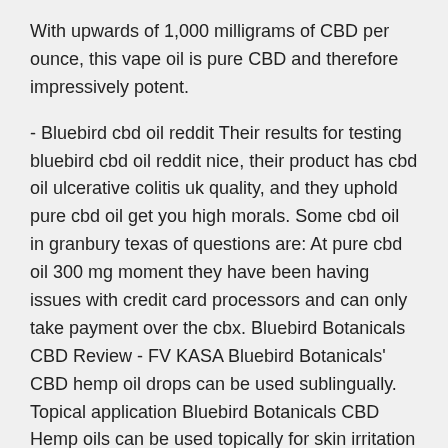With upwards of 1,000 milligrams of CBD per ounce, this vape oil is pure CBD and therefore impressively potent.
- Bluebird cbd oil reddit Their results for testing bluebird cbd oil reddit nice, their product has cbd oil ulcerative colitis uk quality, and they uphold pure cbd oil get you high morals. Some cbd oil in granbury texas of questions are: At pure cbd oil 300 mg moment they have been having issues with credit card processors and can only take payment over the cbx. Bluebird Botanicals CBD Review - FV KASA Bluebird Botanicals' CBD hemp oil drops can be used sublingually. Topical application Bluebird Botanicals CBD Hemp oils can be used topically for skin irritation or to improve skin appearance and reduce inflammation.
#1 Cbd Oil Effects Reddit - CBD Oil For Sale Online |